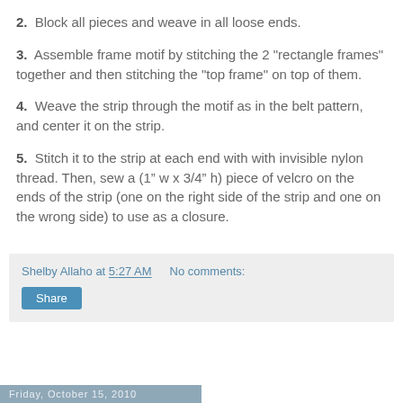2.  Block all pieces and weave in all loose ends.
3.  Assemble frame motif by stitching the 2 "rectangle frames" together and then stitching the "top frame" on top of them.
4.  Weave the strip through the motif as in the belt pattern, and center it on the strip.
5.  Stitch it to the strip at each end with with invisible nylon thread. Then, sew a (1” w x 3/4” h) piece of velcro on the ends of the strip (one on the right side of the strip and one on the wrong side) to use as a closure.
Shelby Allaho at 5:27 AM   No comments:
Share
Friday, October 15, 2010